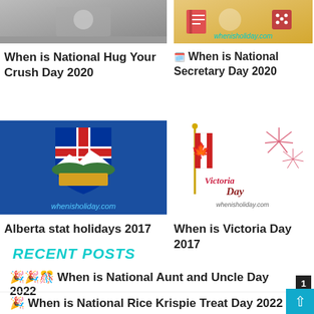[Figure (photo): Photo thumbnail for National Hug Your Crush Day 2020 article]
When is National Hug Your Crush Day 2020
[Figure (illustration): Illustration with book/secretary icons and whenisholiday.com watermark for National Secretary Day 2020 article]
🗓️ When is National Secretary Day 2020
[Figure (illustration): Alberta flag on blue background with whenisholiday.com watermark]
Alberta stat holidays 2017
[Figure (illustration): Victoria Day illustration with Canadian flag and fireworks, whenisholiday.com watermark]
When is Victoria Day 2017
RECENT POSTS
🎉🎉🎊 When is National Aunt and Uncle Day 2022
🎉 When is National Rice Krispie Treat Day 2022